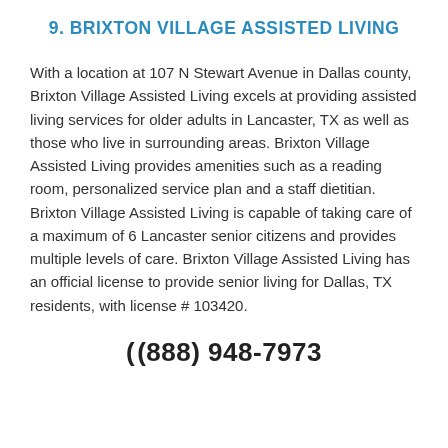9. BRIXTON VILLAGE ASSISTED LIVING
With a location at 107 N Stewart Avenue in Dallas county, Brixton Village Assisted Living excels at providing assisted living services for older adults in Lancaster, TX as well as those who live in surrounding areas. Brixton Village Assisted Living provides amenities such as a reading room, personalized service plan and a staff dietitian. Brixton Village Assisted Living is capable of taking care of a maximum of 6 Lancaster senior citizens and provides multiple levels of care. Brixton Village Assisted Living has an official license to provide senior living for Dallas, TX residents, with license # 103420.
(888) 948-7973